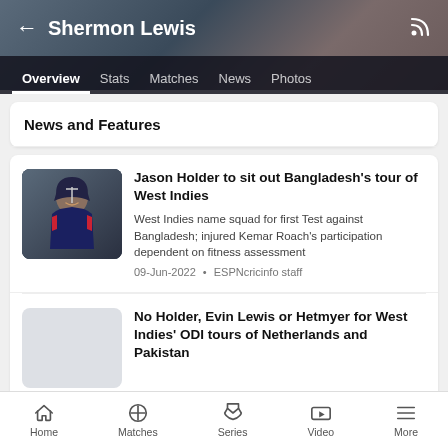Shermon Lewis
Overview  Stats  Matches  News  Photos
News and Features
Jason Holder to sit out Bangladesh's tour of West Indies
West Indies name squad for first Test against Bangladesh; injured Kemar Roach's participation dependent on fitness assessment
09-Jun-2022 • ESPNcricinfo staff
No Holder, Evin Lewis or Hetmyer for West Indies' ODI tours of Netherlands and Pakistan
Home  Matches  Series  Video  More